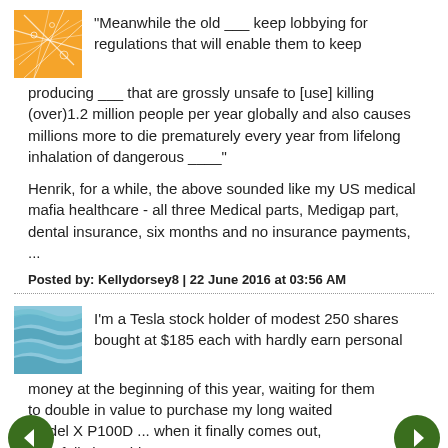"Meanwhile the old ___ keep lobbying for regulations that will enable them to keep producing ___ that are grossly unsafe to [use] killing (over)1.2 million people per year globally and also causes millions more to die prematurely every year from lifelong inhalation of dangerous ____"
Henrik, for a while, the above sounded like my US medical mafia healthcare - all three Medical parts, Medigap part, dental insurance, six months and no insurance payments, ...
Posted by: Kellydorsey8 | 22 June 2016 at 03:56 AM
I'm a Tesla stock holder of modest 250 shares bought at $185 each with hardly earn personal money at the beginning of this year, waiting for them to double in value to purchase my long waited Model X P100D ... when it finally comes out, hopefully later this